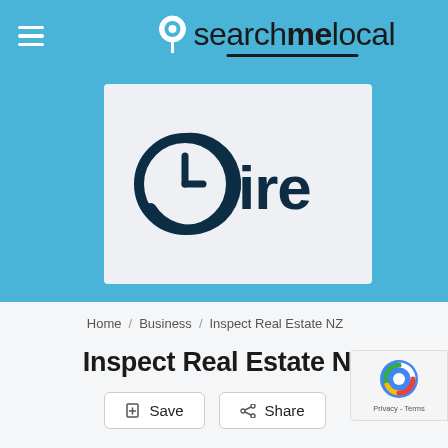searchmelocal
[Figure (logo): Inspect Real Estate NZ logo — clock icon with 'ire' text in dark navy blue on light grey background]
Home / Business / Inspect Real Estate NZ
Inspect Real Estate NZ
Save  Share